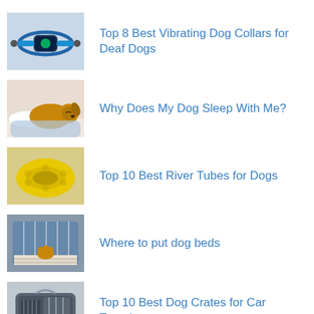Top 8 Best Vibrating Dog Collars for Deaf Dogs
Why Does My Dog Sleep With Me?
Top 10 Best River Tubes for Dogs
Where to put dog beds
Top 10 Best Dog Crates for Car Travel